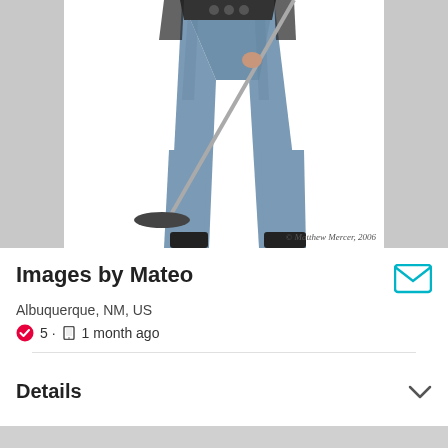[Figure (photo): A person in jeans and a black top holding a long pole/microphone stand on a white background. Copyright watermark reads '© Matthew Mercer, 2006']
Images by Mateo
Albuquerque, NM, US
5 · 1 month ago
Details